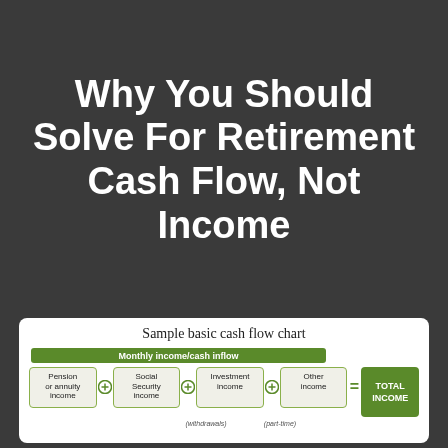Why You Should Solve For Retirement Cash Flow, Not Income
[Figure (flowchart): Sample basic cash flow chart showing monthly income/cash inflow components: Pension or annuity income + Social Security income + Investment income + Other income = TOTAL INCOME, with sub-labels (withdrawals) and (part-time) below some boxes.]